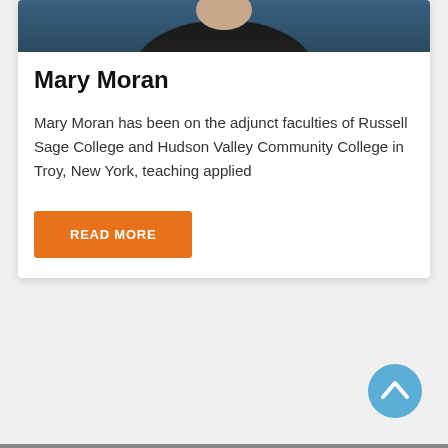[Figure (photo): Partial portrait photo of Mary Moran, showing lower face/chin and dark jacket against a blue-teal background]
Mary Moran
Mary Moran has been on the adjunct faculties of Russell Sage College and Hudson Valley Community College in Troy, New York, teaching applied
[Figure (other): Orange 'READ MORE' button]
[Figure (other): Blue circular back-to-top arrow button in bottom-right corner]